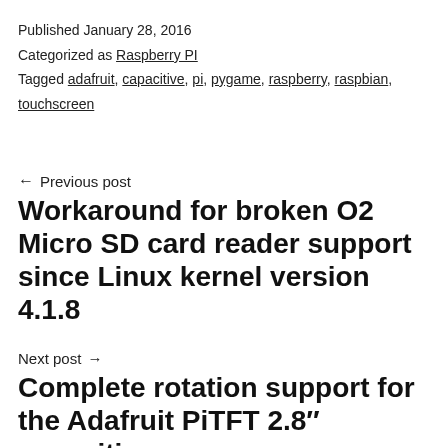Published January 28, 2016
Categorized as Raspberry PI
Tagged adafruit, capacitive, pi, pygame, raspberry, raspbian, touchscreen
← Previous post
Workaround for broken O2 Micro SD card reader support since Linux kernel version 4.1.8
Next post →
Complete rotation support for the Adafruit PiTFT 2.8" capacitive